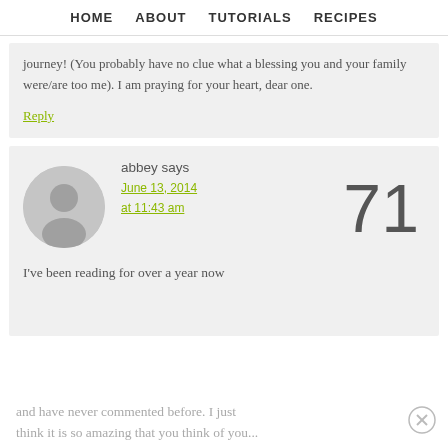HOME   ABOUT   TUTORIALS   RECIPES
journey! (You probably have no clue what a blessing you and your family were/are too me). I am praying for your heart, dear one.
Reply
abbey says
June 13, 2014 at 11:43 am
71
I've been reading for over a year now and have never commented before. I just think it is so amazing that you think of you...